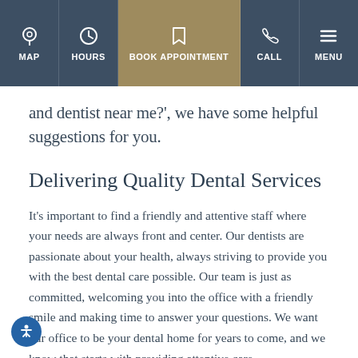MAP | HOURS | BOOK APPOINTMENT | CALL | MENU
and dentist near me?', we have some helpful suggestions for you.
Delivering Quality Dental Services
It's important to find a friendly and attentive staff where your needs are always front and center. Our dentists are passionate about your health, always striving to provide you with the best dental care possible. Our team is just as committed, welcoming you into the office with a friendly smile and making time to answer your questions. We want our office to be your dental home for years to come, and we know that starts with providing attentive care.
Having a dental care team that understands your individual concerns and issues is also vital to quality dental care.